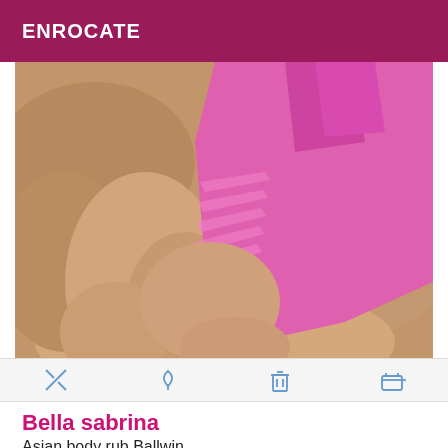ENROCATE
[Figure (photo): Person wearing a pink cutout swimsuit/bodysuit, posed outdoors on rocks, viewed from behind/side angle showing straps and cutout details on the garment.]
Bella sabrina
Asian body rub Ballwin